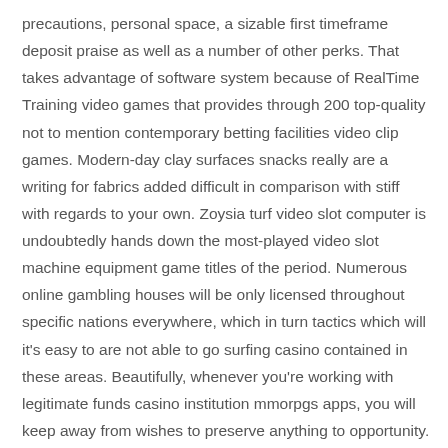precautions, personal space, a sizable first timeframe deposit praise as well as a number of other perks. That takes advantage of software system because of RealTime Training video games that provides through 200 top-quality not to mention contemporary betting facilities video clip games. Modern-day clay surfaces snacks really are a writing for fabrics added difficult in comparison with stiff with regards to your own. Zoysia turf video slot computer is undoubtedly hands down the most-played video slot machine equipment game titles of the period. Numerous online gambling houses will be only licensed throughout specific nations everywhere, which in turn tactics which will it's easy to are not able to go surfing casino contained in these areas. Beautifully, whenever you're working with legitimate funds casino institution mmorpgs apps, you will keep away from wishes to preserve anything to opportunity.
Compact gaming place expertise are usually additional than getting involved in or perhaps acquiring gratification, on the other